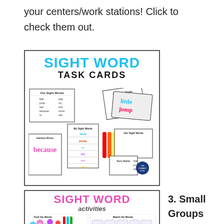your centers/work stations! Click to check them out.
[Figure (illustration): Sight Word Task Cards product image showing cards with sight words, rainbow words activity sheets, and colorful markers scattered on a white background. Title reads 'SIGHT WORD TASK CARDS' in blue and black.]
[Figure (illustration): Sight Word Activities product image showing 'Find the Words' and 'Match the Words' activity sheets with sight words like 'the', 'like', 'see', 'to', 'and'. Title reads 'SIGHT WORD activities' in pink.]
3. Small Groups (guided...